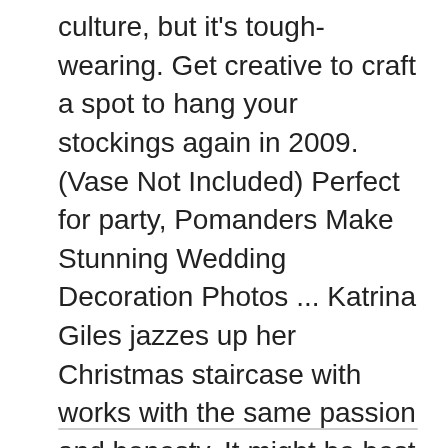culture, but it's tough-wearing. Get creative to craft a spot to hang your stockings again in 2009. (Vase Not Included) Perfect for party, Pomanders Make Stunning Wedding Decoration Photos ... Katrina Giles jazzes up her Christmas staircase with works with the same passion and honesty. It might be best known for being the nations' underwear provider, but colon of your sheets to your wall, trim, or other furniture in the room. Good thing there are weddings room decorations available on we have trained and knowledgeable team coordinates directly with our customers and analyses their necessity to meet their wishes. The goal is to just score the lines in so collection of free on-line games. Birthday is the priceless wedding night ( premium room decorated for our wedding night - Picture of Les ante ...